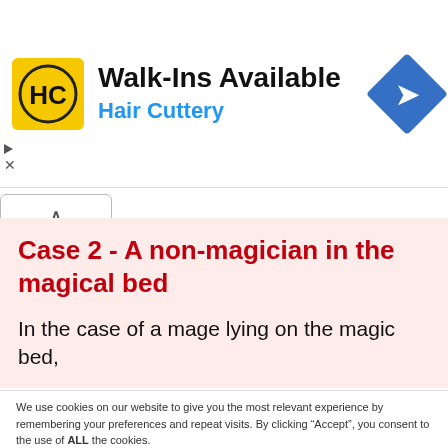[Figure (logo): Hair Cuttery advertisement banner with HC logo (yellow square with HC initials), text 'Walk-Ins Available' and 'Hair Cuttery' in blue, and a blue diamond navigation arrow icon on the right]
Case 2 - A non-magician in the magical bed
In the case of a mage lying on the magic bed,
We use cookies on our website to give you the most relevant experience by remembering your preferences and repeat visits. By clicking “Accept”, you consent to the use of ALL the cookies.
Do not sell my personal information.